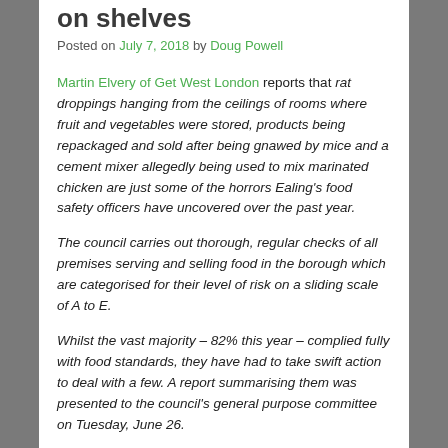on shelves
Posted on July 7, 2018 by Doug Powell
Martin Elvery of Get West London reports that rat droppings hanging from the ceilings of rooms where fruit and vegetables were stored, products being repackaged and sold after being gnawed by mice and a cement mixer allegedly being used to mix marinated chicken are just some of the horrors Ealing's food safety officers have uncovered over the past year.
The council carries out thorough, regular checks of all premises serving and selling food in the borough which are categorised for their level of risk on a sliding scale of A to E.
Whilst the vast majority – 82% this year – complied fully with food standards, they have had to take swift action to deal with a few. A report summarising them was presented to the council's general purpose committee on Tuesday, June 26.
When officers visited food store rooms used to keep fruit and vegetables based at a store in The Green, in Southall, they were found to be riddled with rat droppings